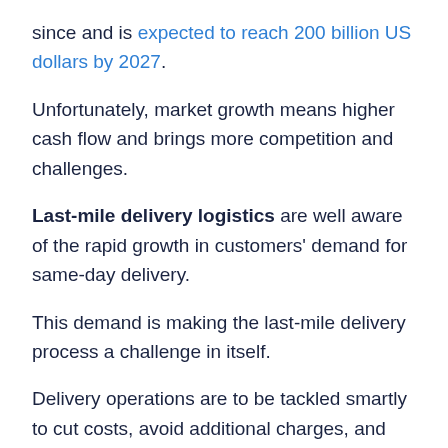since and is expected to reach 200 billion US dollars by 2027.
Unfortunately, market growth means higher cash flow and brings more competition and challenges.
Last-mile delivery logistics are well aware of the rapid growth in customers' demand for same-day delivery.
This demand is making the last-mile delivery process a challenge in itself.
Delivery operations are to be tackled smartly to cut costs, avoid additional charges, and enhance customer experience.